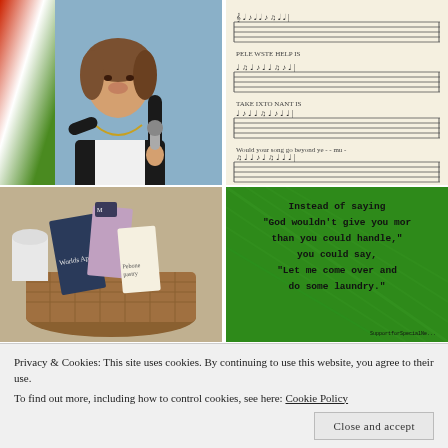[Figure (photo): Woman speaking on stage holding a microphone, wearing white top and dark blazer with a long necklace, flags visible in background]
[Figure (photo): Sheet music notation on aged/cream paper showing musical staves with lyrics]
[Figure (photo): Basket with books including one titled 'Worlds Apart' and other items on a table]
[Figure (photo): Green textured background with black text quote: Instead of saying 'God wouldn't give you more than you could handle,' you could say, 'Let me come over and do some laundry.' with attribution SupportforSpecialNe...]
Privacy & Cookies: This site uses cookies. By continuing to use this website, you agree to their use.
To find out more, including how to control cookies, see here: Cookie Policy
Close and accept
[Figure (photo): Partial image at bottom right, appears to show blue and white object]